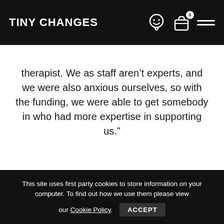TINY CHANGES
therapist. We as staff aren't experts, and we were also anxious ourselves, so with the funding, we were able to get somebody in who had more expertise in supporting us.”
This site uses first party cookies to store information on your computer. To find out how we use them please view our Cookie Policy. ACCEPT